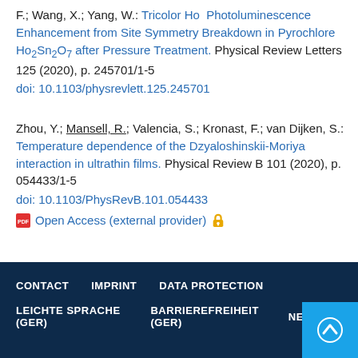F.; Wang, X.; Yang, W.: Tricolor Ho Photoluminescence Enhancement from Site Symmetry Breakdown in Pyrochlore Ho2Sn2O7 after Pressure Treatment. Physical Review Letters 125 (2020), p. 245701/1-5
doi: 10.1103/physrevlett.125.245701
Zhou, Y.; Mansell, R.; Valencia, S.; Kronast, F.; van Dijken, S.: Temperature dependence of the Dzyaloshinskii-Moriya interaction in ultrathin films. Physical Review B 101 (2020), p. 054433/1-5
doi: 10.1103/PhysRevB.101.054433
Open Access (external provider)
CONTACT   IMPRINT   DATA PROTECTION   LEICHTE SPRACHE (GER)   BARRIEREFREIHEIT (GER)   NEWSLETTER